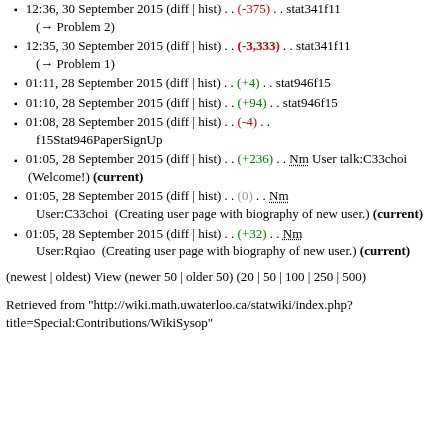12:36, 30 September 2015 (diff | hist) . . (-375) . . stat341f11 (→ Problem 2)
12:35, 30 September 2015 (diff | hist) . . (-3,333) . . stat341f11 (→ Problem 1)
01:11, 28 September 2015 (diff | hist) . . (+4) . . stat946f15
01:10, 28 September 2015 (diff | hist) . . (+94) . . stat946f15
01:08, 28 September 2015 (diff | hist) . . (-4) . . f15Stat946PaperSignUp
01:05, 28 September 2015 (diff | hist) . . (+236) . . Nm User talk:C33choi  (Welcome!) (current)
01:05, 28 September 2015 (diff | hist) . . (0) . . Nm User:C33choi  (Creating user page with biography of new user.) (current)
01:05, 28 September 2015 (diff | hist) . . (+32) . . Nm User:Rqiao  (Creating user page with biography of new user.) (current)
(newest | oldest) View (newer 50 | older 50) (20 | 50 | 100 | 250 | 500)
Retrieved from "http://wiki.math.uwaterloo.ca/statwiki/index.php?title=Special:Contributions/WikiSysop"